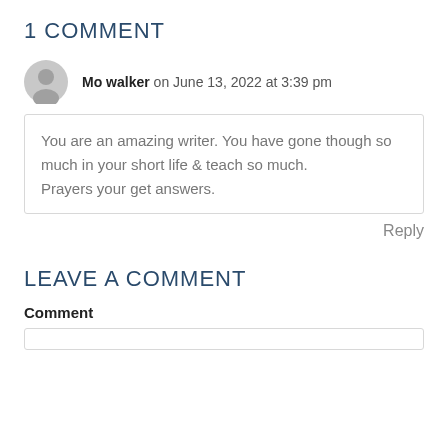1 COMMENT
Mo walker on June 13, 2022 at 3:39 pm
You are an amazing writer. You have gone though so much in your short life & teach so much.
Prayers your get answers.
Reply
LEAVE A COMMENT
Comment